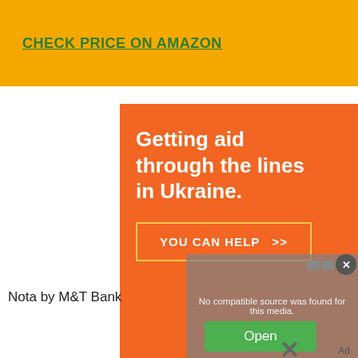CHECK PRICE ON AMAZON
[Figure (screenshot): Orange advertisement for Direct Relief charity: 'Getting aid through the lines in Ukraine.' with 'YOU CAN HELP >>' button. Overlaid with a video error overlay saying 'No compatible source was found for this media.' and a lawn mower advertisement in the background. Also shows 'Nota by M&T Bank' text and a green 'Open' button.]
Nota by M&T Bank
Ad